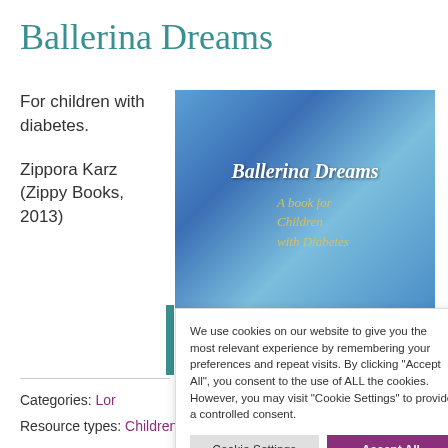Ballerina Dreams
For children with diabetes.
Zippora Karz (Zippy Books, 2013)
[Figure (photo): Book cover of 'Ballerina Dreams: A book for Children with Diabetes' showing a ballerina figure on a blue background]
We use cookies on our website to give you the most relevant experience by remembering your preferences and repeat visits. By clicking "Accept All", you consent to the use of ALL the cookies. However, you may visit "Cookie Settings" to provide a controlled consent.
Categories: Lor
Resource types: Children's book